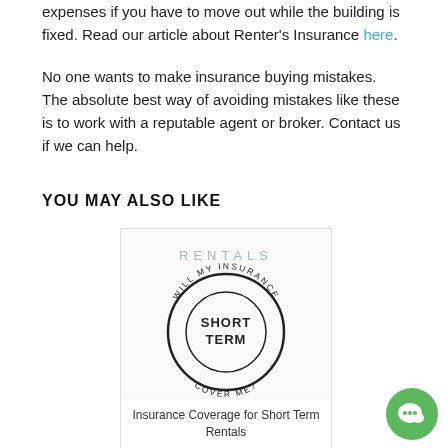expenses if you have to move out while the building is fixed. Read our article about Renter's Insurance here.
No one wants to make insurance buying mistakes. The absolute best way of avoiding mistakes like these is to work with a reputable agent or broker. Contact us if we can help.
YOU MAY ALSO LIKE
[Figure (illustration): Card with 'RENTALS' text at top and a circular badge/stamp logo with text 'WILL MY INSURANCE SHORT TERM COVER ME?' in the center]
Insurance Coverage for Short Term Rentals